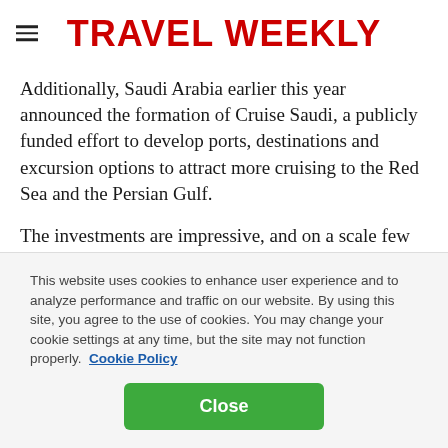TRAVEL WEEKLY
Additionally, Saudi Arabia earlier this year announced the formation of Cruise Saudi, a publicly funded effort to develop ports, destinations and excursion options to attract more cruising to the Red Sea and the Persian Gulf.
The investments are impressive, and on a scale few countries could match. Still, they raise the question: Just
This website uses cookies to enhance user experience and to analyze performance and traffic on our website. By using this site, you agree to the use of cookies. You may change your cookie settings at any time, but the site may not function properly.  Cookie Policy
Close